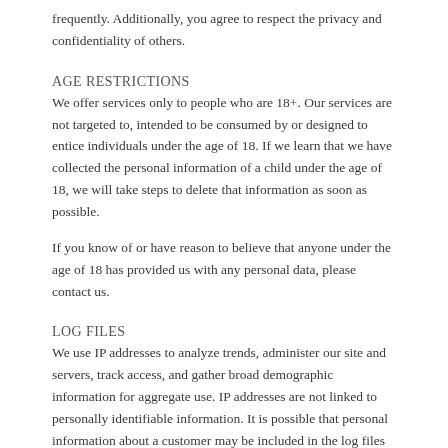frequently. Additionally, you agree to respect the privacy and confidentiality of others.
AGE RESTRICTIONS
We offer services only to people who are 18+. Our services are not targeted to, intended to be consumed by or designed to entice individuals under the age of 18. If we learn that we have collected the personal information of a child under the age of 18, we will take steps to delete that information as soon as possible.
If you know of or have reason to believe that anyone under the age of 18 has provided us with any personal data, please contact us.
LOG FILES
We use IP addresses to analyze trends, administer our site and servers, track access, and gather broad demographic information for aggregate use. IP addresses are not linked to personally identifiable information. It is possible that personal information about a customer may be included in the log files due to the normal functions of IP addresses and Web browsing.